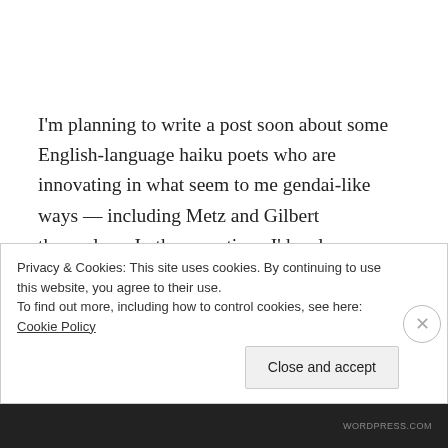I'm planning to write a post soon about some English-language haiku poets who are innovating in what seem to me gendai-like ways — including Metz and Gilbert themselves. In the meantime, I'd welcome comments on these poems and this poetic phenomenon: How do you feel about haiku in this style? Do you think there is a similar movement in English? Should I just stick to haiku and leave the dry academic treatises to the experts? Let
Privacy & Cookies: This site uses cookies. By continuing to use this website, you agree to their use.
To find out more, including how to control cookies, see here: Cookie Policy
Close and accept